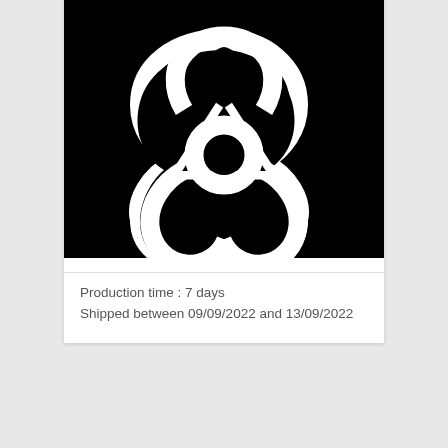[Figure (illustration): Black background with white Celtic triquetra / trinity knot symbol]
Production time : 7 days
Shipped between 09/09/2022 and 13/09/2022